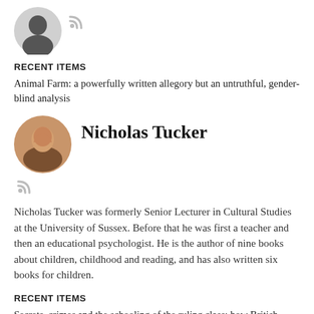[Figure (illustration): Partial circular avatar with silhouette icon and RSS feed icon, top of page, previous author section]
RECENT ITEMS
Animal Farm: a powerfully written allegory but an untruthful, gender-blind analysis
[Figure (photo): Circular photo of Nicholas Tucker, a smiling middle-aged man, with RSS icon below]
Nicholas Tucker
Nicholas Tucker was formerly Senior Lecturer in Cultural Studies at the University of Sussex. Before that he was first a teacher and then an educational psychologist. He is the author of nine books about children, childhood and reading, and has also written six books for children.
RECENT ITEMS
Secrets, crimes and the schooling of the ruling class: how British boarding school stories betrayed their audience
[Figure (photo): Partial circular photo of Kim Reynolds at bottom of page]
Kim Reynolds